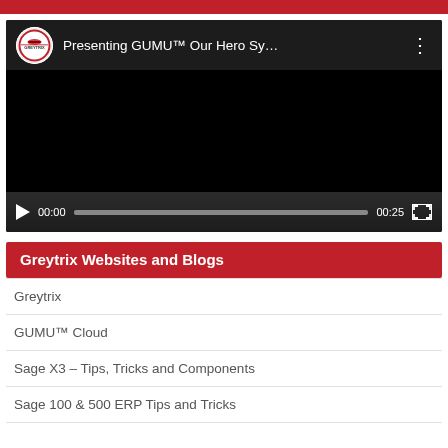[Figure (screenshot): YouTube-style embedded video player showing 'Presenting GUMU™ Our Hero Sy…' with Greytrix logo, black video area, play button, time 00:00 / 00:25, progress bar, and fullscreen button]
Greytrix Websites and Blogs
Greytrix
GUMU™ Cloud
Sage X3 – Tips, Tricks and Components
Sage 100 & 500 ERP Tips and Tricks